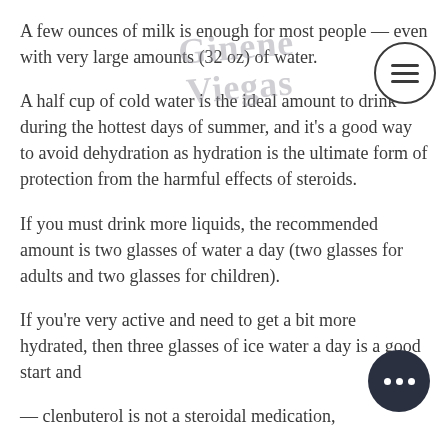A few ounces of milk is enough for most people — even with very large amounts (32 oz) of water.
A half cup of cold water is the ideal amount to drink during the hottest days of summer, and it's a good way to avoid dehydration as hydration is the ultimate form of protection from the harmful effects of steroids.
If you must drink more liquids, the recommended amount is two glasses of water a day (two glasses for adults and two glasses for children).
If you're very active and need to get a bit more hydrated, then three glasses of ice water a day is a good start and
— clenbuterol is not a steroidal medication,